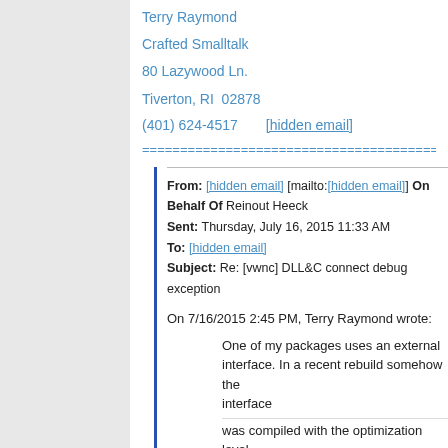Terry Raymond
Crafted Smalltalk
80 Lazywood Ln.
Tiverton, RI  02878
(401) 624-4517      [hidden email]
============================================
From: [hidden email] [mailto:[hidden email]] On Behalf Of Reinout Heeck
Sent: Thursday, July 16, 2015 11:33 AM
To: [hidden email]
Subject: Re: [vwnc] DLL&C connect debug exception
On 7/16/2015 2:45 PM, Terry Raymond wrote:
One of my packages uses an external interface. In a recent rebuild somehow the interface
was compiled with the optimization level